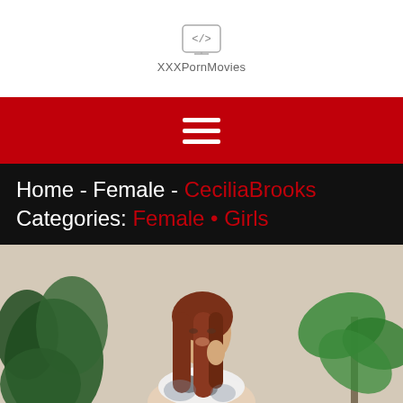[Figure (logo): XXXPornMovies website logo with code icon brackets]
XXXPornMovies
[Figure (infographic): Red navigation bar with white hamburger menu icon]
Home - Female - CeciliaBrooks
Categories: Female • Girls
[Figure (photo): Young woman with long red-brown hair, tattoos, wearing cow-print top, posing with hand near face, flanked by tropical plants]